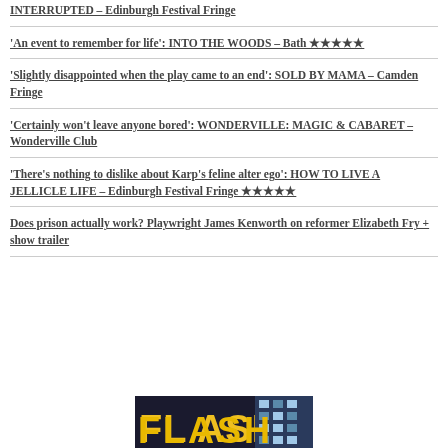INTERRUPTED – Edinburgh Festival Fringe
'An event to remember for life': INTO THE WOODS – Bath ★★★★★
'Slightly disappointed when the play came to an end': SOLD BY MAMA – Camden Fringe
'Certainly won't leave anyone bored': WONDERVILLE: MAGIC & CABARET – Wonderville Club
'There's nothing to dislike about Karp's feline alter ego': HOW TO LIVE A JELLICLE LIFE – Edinburgh Festival Fringe ★★★★★
Does prison actually work? Playwright James Kenworth on reformer Elizabeth Fry + show trailer
[Figure (photo): Bottom portion of a show poster with yellow stylized text 'FLASH' on a dark background with building windows visible on the right side]